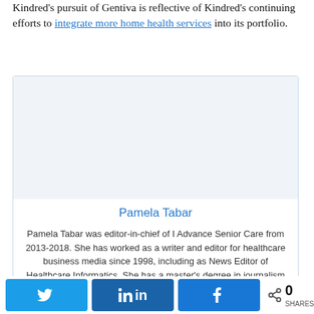Kindred's pursuit of Gentiva is reflective of Kindred's continuing efforts to integrate more home health services into its portfolio.
[Figure (photo): Author photo placeholder for Pamela Tabar within an author card box]
Pamela Tabar
Pamela Tabar was editor-in-chief of I Advance Senior Care from 2013-2018. She has worked as a writer and editor for healthcare business media since 1998, including as News Editor of Healthcare Informatics. She has a master's degree in journalism from Kent State University and a master's
Social share buttons: Twitter, LinkedIn, Facebook. 0 SHARES